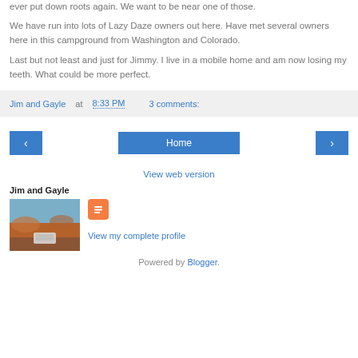ever put down roots again. We want to be near one of those.
We have run into lots of Lazy Daze owners out here. Have met several owners here in this campground from Washington and Colorado.
Last but not least and just for Jimmy. I live in a mobile home and am now losing my teeth. What could be more perfect.
Jim and Gayle at 8:33 PM   3 comments:
[Figure (infographic): Navigation bar with left arrow button, Home button, and right arrow button]
View web version
Jim and Gayle
[Figure (photo): Profile photo showing a red rock desert landscape with a vehicle, accompanied by a Blogger icon and View my complete profile link]
View my complete profile
Powered by Blogger.